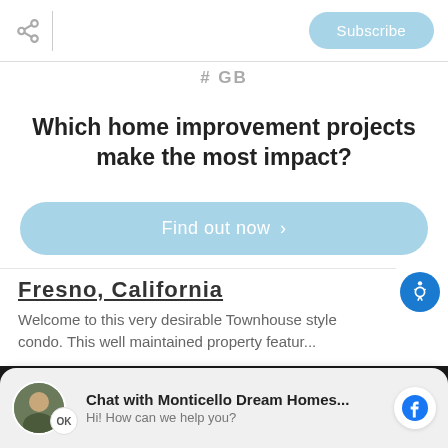Subscribe
#GB
Which home improvement projects make the most impact?
Find out now >
Fresno, California
Welcome to this very desirable Townhouse style condo. This well maintained property featur...
We use cookies to enhance your browsing experience and deliver our services. By continuing to visit this site, you agree to our use of cookies. More info
Chat with Monticello Dream Homes... Hi! How can we help you?